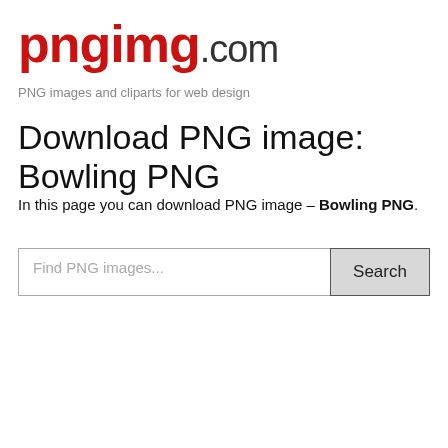pngimg.com
PNG images and cliparts for web design
Download PNG image: Bowling PNG
In this page you can download PNG image – Bowling PNG.
Find PNG images...
Search